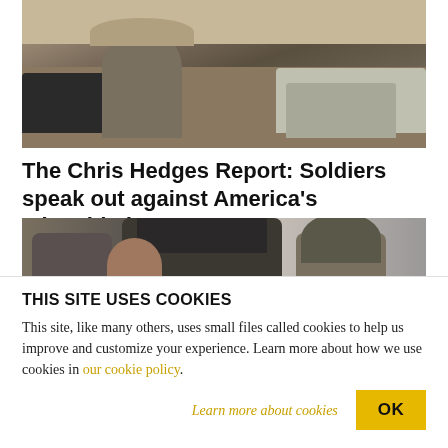[Figure (photo): Outdoor scene with a person wearing a wide-brim hat in a desert-like area with vehicles including dark cars and a white pickup truck (Dodge) in the background.]
The Chris Hedges Report: Soldiers speak out against America’s misguided wars
[Figure (photo): Close-up of people including a young man and soldiers or police in riot gear with helmets and visors.]
THIS SITE USES COOKIES
This site, like many others, uses small files called cookies to help us improve and customize your experience. Learn more about how we use cookies in our cookie policy.
Learn more about cookies
OK